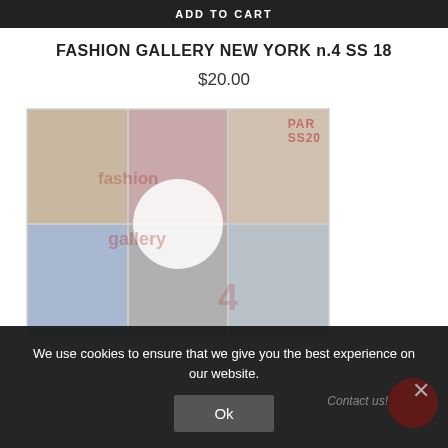ADD TO CART
FASHION GALLERY NEW YORK n.4 SS 18
$20.00
[Figure (photo): Product image showing a fashion gallery magazine cover collage with multiple magazine cover thumbnails arranged in a grid, overlaid with a watermark circle and red 'gallery' text watermark]
We use cookies to ensure that we give you the best experience on our website.
Ok